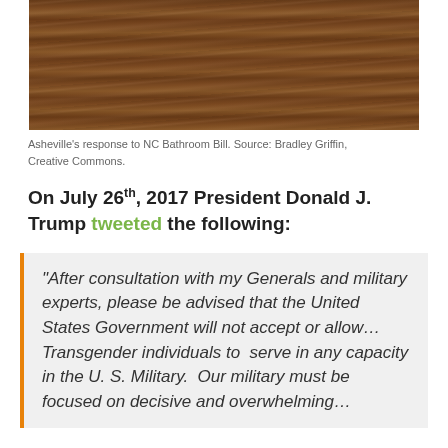[Figure (photo): Wood texture / wooden surface photograph - dark brown wood grain]
Asheville's response to NC Bathroom Bill. Source: Bradley Griffin, Creative Commons.
On July 26th, 2017 President Donald J. Trump tweeted the following:
"After consultation with my Generals and military experts, please be advised that the United States Government will not accept or allow... Transgender individuals to serve in any capacity in the U. S. Military.  Our military must be focused on decisive and overwhelming...